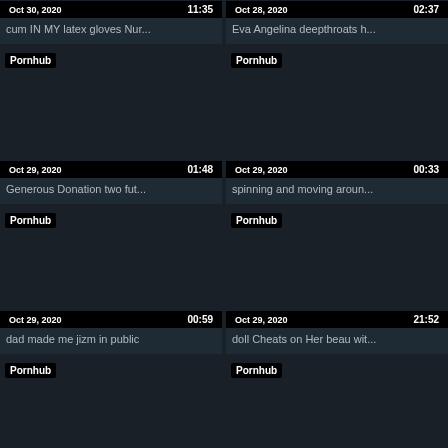[Figure (screenshot): Video thumbnail card - Oct 30, 2020, 11:35, cum IN MY latex gloves Nur...]
[Figure (screenshot): Video thumbnail card - Oct 28, 2020, 02:37, Eva Angelina deepthroats h...]
[Figure (screenshot): Video thumbnail card - Pornhub, Oct 29, 2020, 01:48, Generous Donation two fut...]
[Figure (screenshot): Video thumbnail card - Pornhub, Oct 29, 2020, 00:33, spinning and moving aroun...]
[Figure (screenshot): Video thumbnail card - Pornhub, Oct 29, 2020, 00:59, dad made me jizm in public]
[Figure (screenshot): Video thumbnail card - Pornhub, Oct 29, 2020, 21:52, doll Cheats on Her beau wit...]
[Figure (screenshot): Video thumbnail card - Pornhub, partial at bottom]
[Figure (screenshot): Video thumbnail card - Pornhub, partial at bottom]